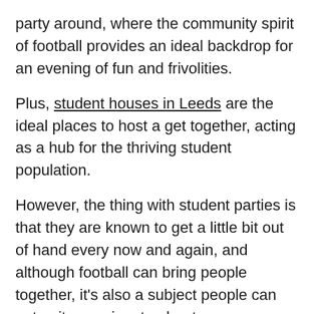party around, where the community spirit of football provides an ideal backdrop for an evening of fun and frivolities.
Plus, student houses in Leeds are the ideal places to host a get together, acting as a hub for the thriving student population.
However, the thing with student parties is that they are known to get a little bit out of hand every now and again, and although football can bring people together, it's also a subject people can get quite passionate about.
This can occasionally lead to frayed tempers. But, that doesn't mean you can't have fun and leave your friendships intact, as well as your home.